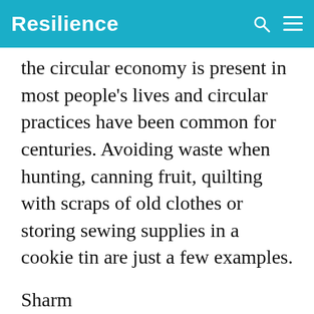Resilience
the circular economy is present in most people's lives and circular practices have been common for centuries. Avoiding waste when hunting, canning fruit, quilting with scraps of old clothes or storing sewing supplies in a cookie tin are just a few examples.
Sharm... buildi... recove... es and
[Figure (screenshot): A teal popup widget asking 'How likely are you to recommend Resilience.org to a friend?' with a Reply button, overlaying the article text. A chevron/down arrow icon appears at the top right of the popup.]